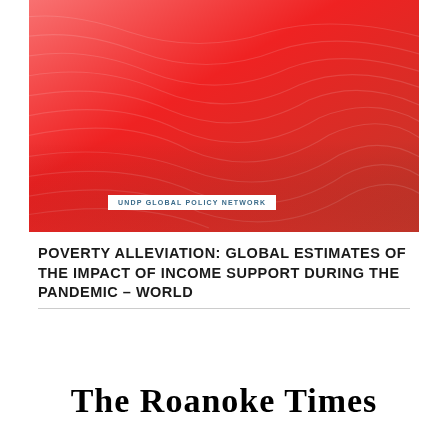[Figure (illustration): Red gradient background image with subtle wave/topographic line patterns, used as hero image for UNDP Global Policy Network document cover]
UNDP GLOBAL POLICY NETWORK
POVERTY ALLEVIATION: GLOBAL ESTIMATES OF THE IMPACT OF INCOME SUPPORT DURING THE PANDEMIC – WORLD
[Figure (logo): The Roanoke Times newspaper logo in serif font]